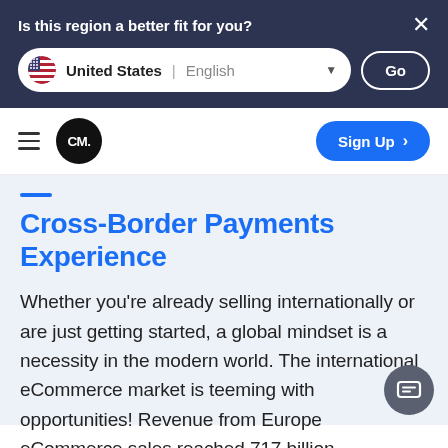Is this region a better fit for you?
United States | English
Go
Cross-Border Payments Experience
Whether you’re already selling internationally or are just getting started, a global mindset is a necessity in the modern world. The international eCommerce market is teeming with opportunities! Revenue from European eCommerce sales reached 717 billion